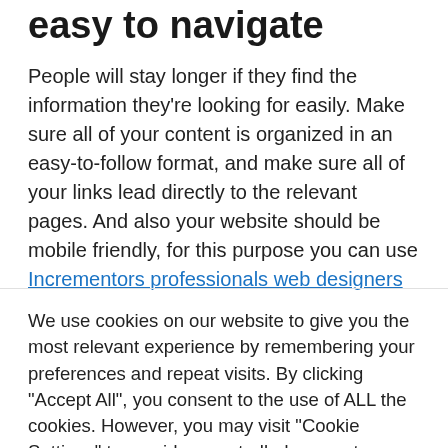easy to navigate
People will stay longer if they find the information they're looking for easily. Make sure all of your content is organized in an easy-to-follow format, and make sure all of your links lead directly to the relevant pages. And also your website should be mobile friendly, for this purpose you can use Incrementors professionals web designers
We use cookies on our website to give you the most relevant experience by remembering your preferences and repeat visits. By clicking "Accept All", you consent to the use of ALL the cookies. However, you may visit "Cookie Settings" to provide a controlled consent.